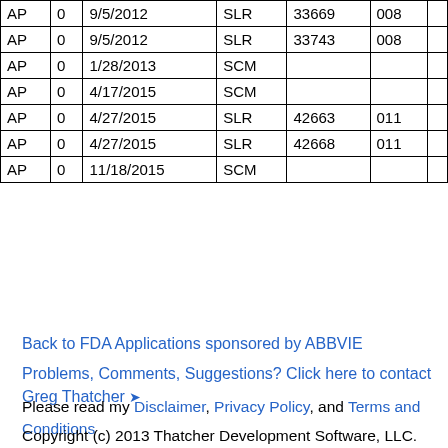|  |  |  |  |  |  |  |
| --- | --- | --- | --- | --- | --- | --- |
| AP | 0 | 9/5/2012 | SLR | 33669 | 008 |  |
| AP | 0 | 9/5/2012 | SLR | 33743 | 008 |  |
| AP | 0 | 1/28/2013 | SCM |  |  |  |
| AP | 0 | 4/17/2015 | SCM |  |  |  |
| AP | 0 | 4/27/2015 | SLR | 42663 | 011 |  |
| AP | 0 | 4/27/2015 | SLR | 42668 | 011 |  |
| AP | 0 | 11/18/2015 | SCM |  |  |  |
Back to FDA Applications sponsored by ABBVIE
Problems, Comments, Suggestions? Click here to contact Greg Thatcher ✈
Please read my Disclaimer, Privacy Policy, and Terms and Conditions
Copyright (c) 2013 Thatcher Development Software, LLC. All rights reserved. No claim to original U.S. Gov't works.